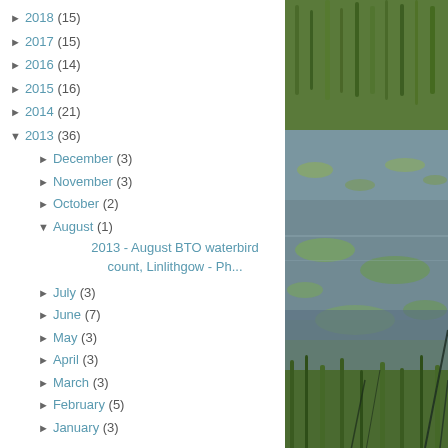► 2018 (15)
► 2017 (15)
► 2016 (14)
► 2015 (16)
► 2014 (21)
▼ 2013 (36)
► December (3)
► November (3)
► October (2)
▼ August (1)
2013 - August BTO waterbird count, Linlithgow - Ph...
► July (3)
► June (7)
► May (3)
► April (3)
► March (3)
► February (5)
► January (3)
[Figure (photo): Photograph of a pond or wetland area with green reeds, water lilies, and duckweed on the water surface. Vegetation and grasses visible at edges.]